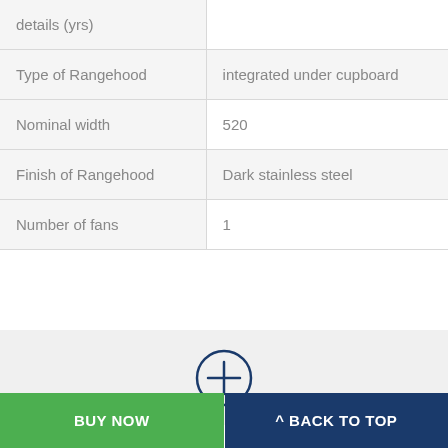| details (yrs) |  |
| Type of Rangehood | integrated under cupboard |
| Nominal width | 520 |
| Finish of Rangehood | Dark stainless steel |
| Number of fans | 1 |
[Figure (other): A circle with a plus/add icon in dark navy blue, centered in a light gray bar, indicating an expand or add more details button]
BUY NOW
^ BACK TO TOP